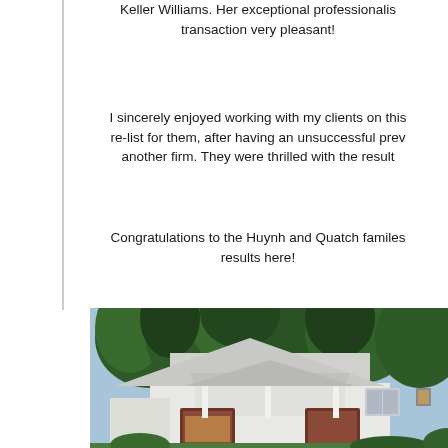Keller Williams. Her exceptional professionalism made the transaction very pleasant!
I sincerely enjoyed working with my clients on this re-list for them, after having an unsuccessful previous listing with another firm. They were thrilled with the results!
Congratulations to the Huynh and Quatch familes for getting great results here!
[Figure (photo): Exterior photo of a residential house with white siding, a covered front entry porch with brown/red accents, surrounded by tall evergreen trees, taken on a clear day.]